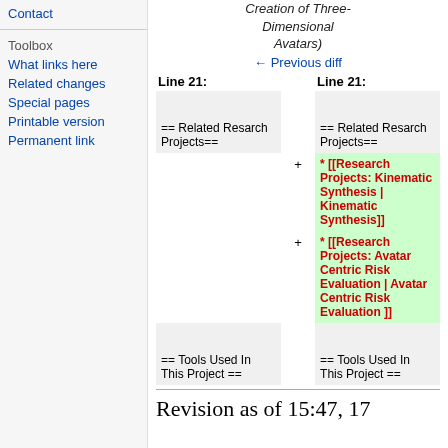Contact
Toolbox
What links here
Related changes
Special pages
Printable version
Permanent link
Creation of Three-Dimensional Avatars)
← Previous diff
| Line 21: | Line 21: |
| --- | --- |
|  |  |
| == Related Resarch Projects== | == Related Resarch Projects== |
|  | + * [[Research Projects: Kinematic Synthesis | Kinematic Synthesis]] |
|  | + * [[Research Projects: Avatar Centric Risk Evaluation | Avatar Centric Risk Evaluation ]] |
|  |  |
| == Tools Used In This Project == | == Tools Used In This Project == |
Revision as of 15:47, 17